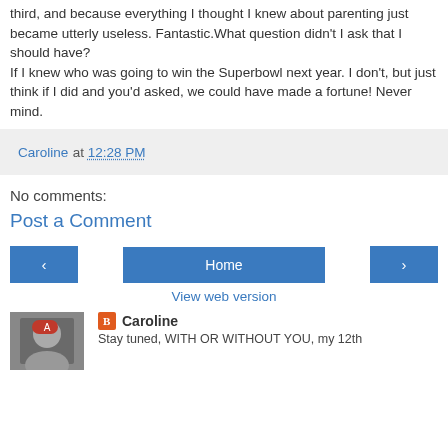third, and because everything I thought I knew about parenting just became utterly useless. Fantastic.What question didn't I ask that I should have?
If I knew who was going to win the Superbowl next year. I don't, but just think if I did and you'd asked, we could have made a fortune! Never mind.
Caroline at 12:28 PM
No comments:
Post a Comment
‹  Home  ›
View web version
Caroline
Stay tuned, WITH OR WITHOUT YOU, my 12th